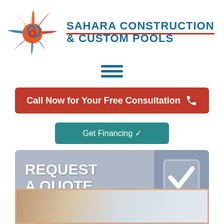[Figure (logo): Sahara Construction & Custom Pools logo: stylized sun with orange/red rays and blue swirl on left, company name text on right in blue with red underline]
[Figure (other): Hamburger menu icon (three horizontal blue lines)]
Call Now for Your Free Consultation
Get Financing ✓
REQUEST A QUOTE
[Figure (photo): Partial photo of pool construction or outdoor area at bottom of page, partially visible]